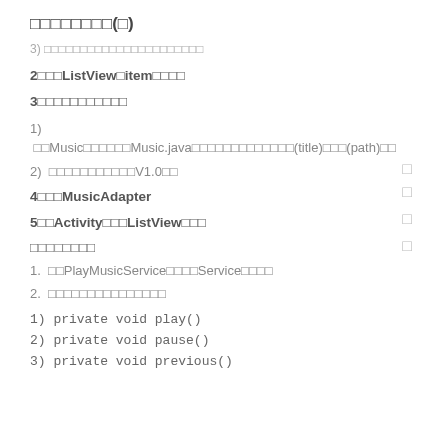□□□□□□□□(□)
3) □□□□□□□□□□□□/□□□□□□□□□□
2□□□ListView□item□□□□
3□□□□□□□□□□□
1) □□Music□□□□□□Music.java□□□□□□□□□□□□□(title)□□□(path)□□
2) □□□□□□□□□□□V1.0□□
4□□□MusicAdapter
5□□Activity□□□ListView□□□
□□□□□□□□
1. □□PlayMusicService□□□□Service□□□□
2. □□□□□□□□□□□□□□□
1) private void play()
2) private void pause()
3) private void previous()